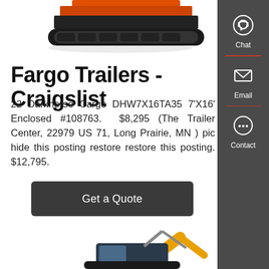[Figure (photo): Partial view of an orange/black tracked mini excavator, cropped at top of page]
Fargo Trailers - Craigslist
22 Darkhorse Cargo DHW7X16TA35 7'X16' Enclosed #108763. $8,295 (The Trailer Center, 22979 US 71, Long Prairie, MN ) pic hide this posting restore restore this posting. $12,795.
Get a Quote
[Figure (photo): Yellow and black SANY mini excavator on white background, partially visible at bottom of page]
Chat
Email
Contact